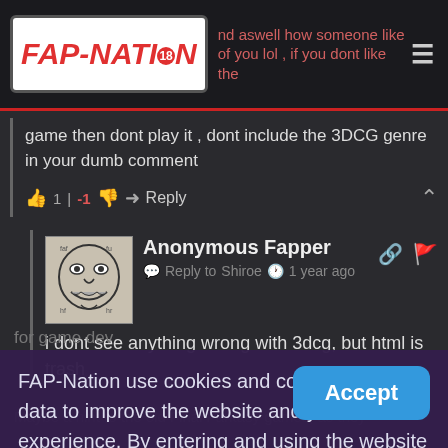FAP-NATION (logo) — nd aswell how someone like of you lol , if you dont like the
game then dont play it , dont include the 3DCG genre in your dumb comment
👍 1 | -1 👎 → Reply ∧
Anonymous Fapper — Reply to Shiroe — 1 year ago
i dont see anything wrong with 3dcg, but html is trash
for game dev
FAP-Nation use cookies and collects user data to improve the website and your experience. By entering and using the website you agree with these terms. Learn More
Accept
Anonymous Fapper
Maybe a hint to the old Final Fantasy games, as they